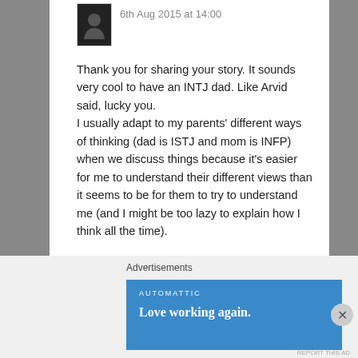6th Aug 2015 at 14:00
Thank you for sharing your story. It sounds very cool to have an INTJ dad. Like Arvid said, lucky you.
I usually adapt to my parents' different ways of thinking (dad is ISTJ and mom is INFP) when we discuss things because it's easier for me to understand their different views than it seems to be for them to try to understand me (and I might be too lazy to explain how I think all the time).
My parents can be quite funny to observe when they discuss things between themselves because they
Advertisements
[Figure (logo): Automattic advertisement banner with text 'Love working again.']